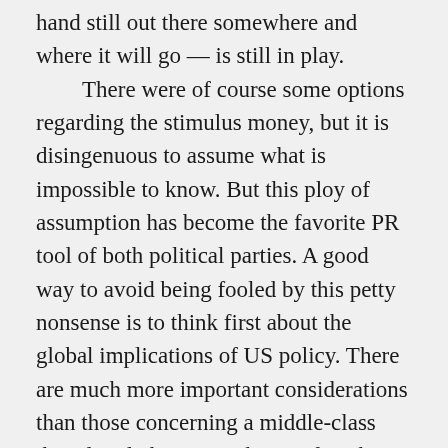hand still out there somewhere and where it will go — is still in play.
	There were of course some options regarding the stimulus money, but it is disingenuous to assume what is impossible to know. But this ploy of assumption has become the favorite PR tool of both political parties. A good way to avoid being fooled by this petty nonsense is to think first about the global implications of US policy. There are much more important considerations than those concerning a middle-class that already has more than its fair share. But of course it is difficult to get elected in this country if leaders even so much as hint at such a notion, so nearly everything flowing through the MSM mill emanates from doublespeak.~ ray